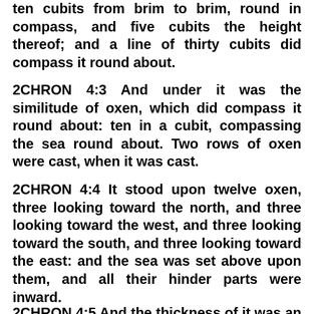ten cubits from brim to brim, round in compass, and five cubits the height thereof; and a line of thirty cubits did compass it round about.
2CHRON 4:3 And under it was the similitude of oxen, which did compass it round about: ten in a cubit, compassing the sea round about. Two rows of oxen were cast, when it was cast.
2CHRON 4:4 It stood upon twelve oxen, three looking toward the north, and three looking toward the west, and three looking toward the south, and three looking toward the east: and the sea was set above upon them, and all their hinder parts were inward.
2CHRON 4:5 And the thickness of it was an handbreadth, and the brim of it like the work of the brim of a cup, with flowers of lilies; and it received and held three thousand baths.
2CHRON 4:6 He made also ten lavers, and put five on the right hand, and five on the left, to wash in them: such things as they offered for